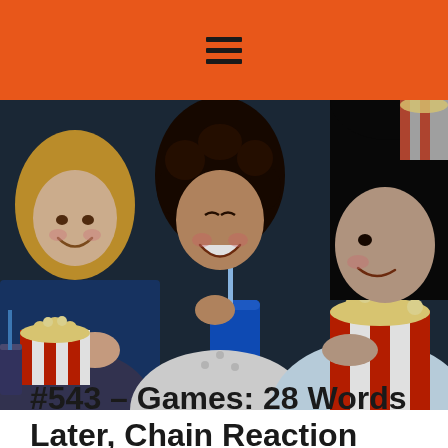☰
[Figure (photo): Three young women sitting in a movie theater, smiling and laughing. They are holding popcorn buckets with red and white stripes and drinks. The leftmost woman has blonde hair, the center woman has curly dark hair wearing a polka dot top, and the rightmost woman has straight dark hair wearing a light blue shirt. The background is dark blue theater seats.]
#543 – Games: 28 Words Later, Chain Reaction